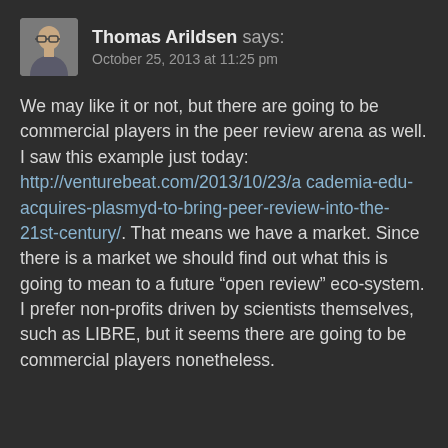Thomas Arildsen says: October 25, 2013 at 11:25 pm
We may like it or not, but there are going to be commercial players in the peer review arena as well. I saw this example just today: http://venturebeat.com/2013/10/23/academia-edu-acquires-plasmyd-to-bring-peer-review-into-the-21st-century/. That means we have a market. Since there is a market we should find out what this is going to mean to a future “open review” eco-system. I prefer non-profits driven by scientists themselves, such as LIBRE, but it seems there are going to be commercial players nonetheless.